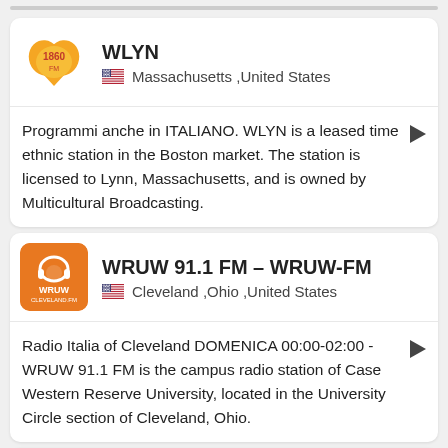WLYN
Massachusetts ,United States
Programmi anche in ITALIANO. WLYN is a leased time ethnic station in the Boston market. The station is licensed to Lynn, Massachusetts, and is owned by Multicultural Broadcasting.
WRUW 91.1 FM – WRUW-FM
Cleveland ,Ohio ,United States
Radio Italia of Cleveland DOMENICA 00:00-02:00 - WRUW 91.1 FM is the campus radio station of Case Western Reserve University, located in the University Circle section of Cleveland, Ohio.
WRYM Radio "La Gigante"
Connecticut ,United States